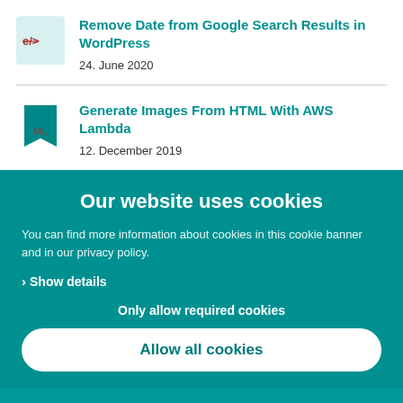Remove Date from Google Search Results in WordPress
24. June 2020
Generate Images From HTML With AWS Lambda
12. December 2019
Our website uses cookies
You can find more information about cookies in this cookie banner and in our privacy policy.
> Show details
Only allow required cookies
Allow all cookies